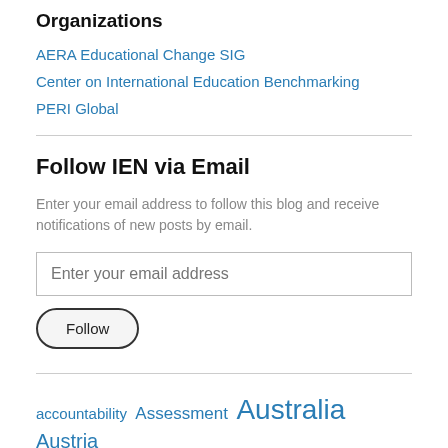Organizations
AERA Educational Change SIG
Center on International Education Benchmarking
PERI Global
Follow IEN via Email
Enter your email address to follow this blog and receive notifications of new posts by email.
accountability Assessment Australia Austria China